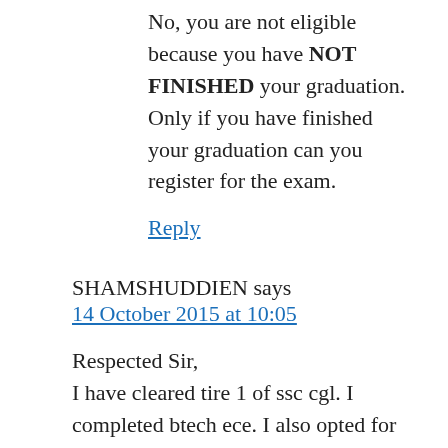No, you are not eligible because you have NOT FINISHED your graduation. Only if you have finished your graduation can you register for the exam.
Reply
SHAMSHUDDIEN says
14 October 2015 at 10:05
Respected Sir,
I have cleared tire 1 of ssc cgl. I completed btech ece. I also opted for compiler post in cgl. so i got hall ticket with all three papers schedule. but i don't want to write paper 3 . am I eligible to get job other